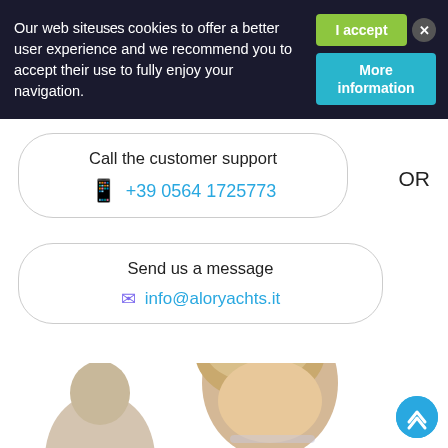Our web site uses cookies to offer a better user experience and we recommend you to accept their use to fully enjoy your navigation.
I accept
More information
Call the customer support
+39 0564 1725773
OR
Send us a message
info@aloryachts.it
[Figure (photo): Partial photo of a blonde child/person looking down, likely at a device, with another person partially visible at the bottom left.]